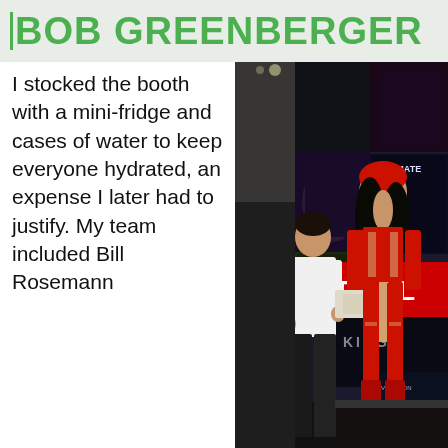BOB GREENBERGER
I stocked the booth with a mini-fridge and cases of water to keep everyone hydrated, an expense I later had to justify. My team included Bill Rosemann
[Figure (photo): Photo of a man in a white t-shirt speaking with a woman dressed in a red Elektra (Marvel Comics) cosplay costume, standing in front of Marvel comic book display banners including Hulk, Ultimate X-Men, and X-Evolution at a comic convention booth.]